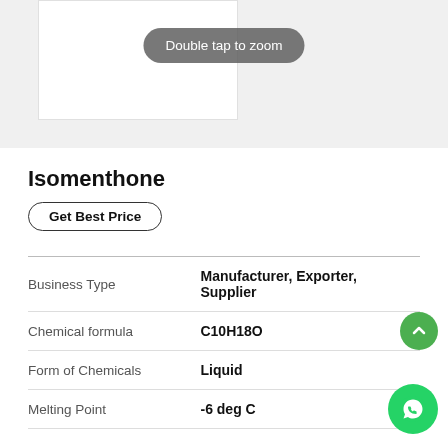[Figure (photo): Product image area with a 'Double tap to zoom' overlay button on a grey background]
Isomenthone
Get Best Price
| Property | Value |
| --- | --- |
| Business Type | Manufacturer, Exporter, Supplier |
| Chemical formula | C10H18O |
| Form of Chemicals | Liquid |
| Melting Point | -6 deg C |
Click to view more